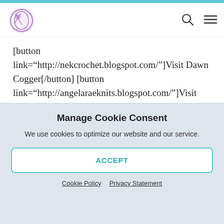[logo] [search icon] [menu icon]
[button link="http://nekcrochet.blogspot.com/"]Visit Dawn Cogger[/button] [button link="http://angelaraeknits.blogspot.com/"]Visit Angela Whisnant[/button]
Our Little Giveaway: Autographed Pattern
Manage Cookie Consent
We use cookies to optimize our website and our service.
ACCEPT
Cookie Policy   Privacy Statement